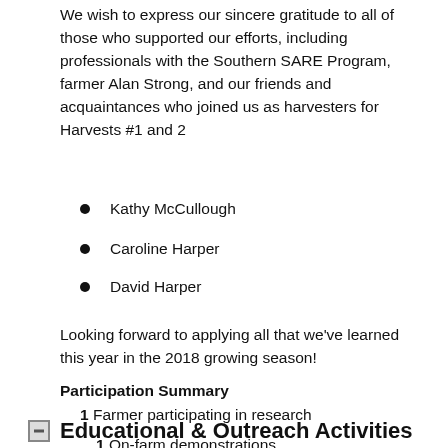We wish to express our sincere gratitude to all of those who supported our efforts, including professionals with the Southern SARE Program, farmer Alan Strong, and our friends and acquaintances who joined us as harvesters for Harvests #1 and 2
Kathy McCullough
Caroline Harper
David Harper
Looking forward to applying all that we've learned this year in the 2018 growing season!
Participation Summary
1 Farmer participating in research
Educational & Outreach Activities
1 On-farm demonstrations